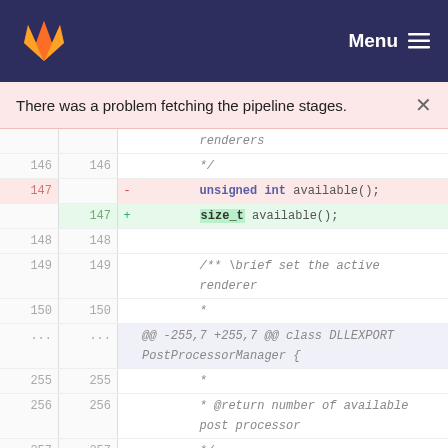GitLab — Menu
There was a problem fetching the pipeline stages.
[Figure (screenshot): Code diff view showing lines 146-259 of a C++ header file. Line 147 shows a deletion of 'unsigned int available();' and an addition of 'size_t available();'. Lines 149-150 show a comment block. A meta line shows @@ -255,7 +255,7 @@ class DLLEXPORT PostProcessorManager {. Lines 255-257 show comment lines. Line 258 shows a deletion of 'unsigned int available();' and an addition of 'size_t available();'. Line 259 is blank.]